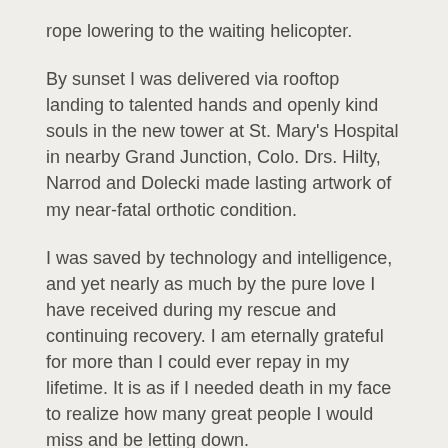rope lowering to the waiting helicopter.
By sunset I was delivered via rooftop landing to talented hands and openly kind souls in the new tower at St. Mary's Hospital in nearby Grand Junction, Colo. Drs. Hilty, Narrod and Dolecki made lasting artwork of my near-fatal orthotic condition.
I was saved by technology and intelligence, and yet nearly as much by the pure love I have received during my rescue and continuing recovery. I am eternally grateful for more than I could ever repay in my lifetime. It is as if I needed death in my face to realize how many great people I would miss and be letting down.
As I lay reviving two severely broken legs in a St. Mary's patient room, part of a message from Sister Jane McConnell appears: